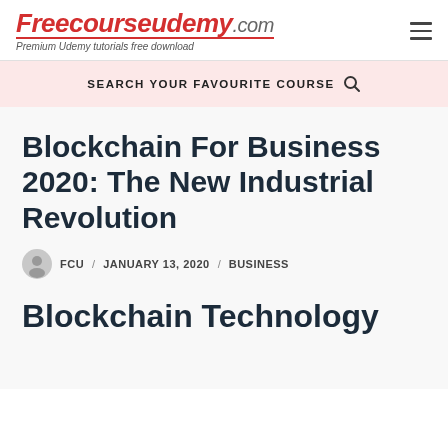Freecourseudemy.com — Premium Udemy tutorials free download
SEARCH YOUR FAVOURITE COURSE
Blockchain For Business 2020: The New Industrial Revolution
FCU / JANUARY 13, 2020 / BUSINESS
Blockchain Technology